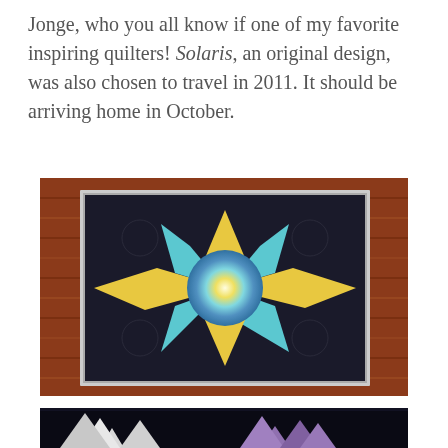Jonge, who you all know if one of my favorite inspiring quilters! Solaris, an original design, was also chosen to travel in 2011. It should be arriving home in October.
[Figure (photo): A quilt with a large eight-pointed star pattern in blue, teal, yellow, and white tie-dye fabric on a black background with swirl quilting, displayed on a wooden floor.]
[Figure (photo): Partial view of another quilt with star points in white and purple/lavender on a dark background, partially visible at the bottom of the page.]